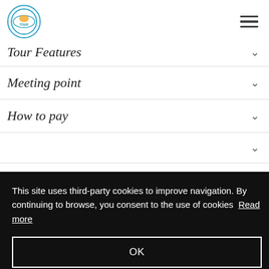Tour Features
Tour Features
Meeting point
How to pay
This site uses third-party cookies to improve navigation. By continuing to browse, you consent to the use of cookies Read more
OK
US